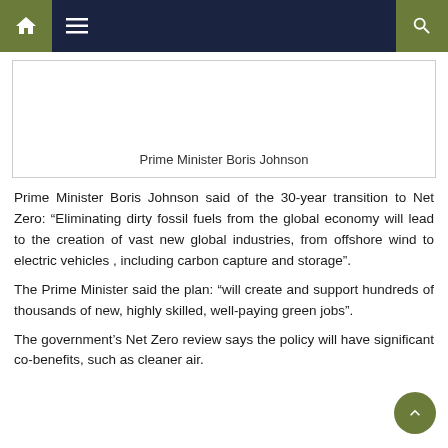Navigation bar with home, menu, and search icons
[Figure (photo): Photo placeholder of Prime Minister Boris Johnson]
Prime Minister Boris Johnson
Prime Minister Boris Johnson said of the 30-year transition to Net Zero: “Eliminating dirty fossil fuels from the global economy will lead to the creation of vast new global industries, from offshore wind to electric vehicles , including carbon capture and storage”.
The Prime Minister said the plan: “will create and support hundreds of thousands of new, highly skilled, well-paying green jobs”.
The government’s Net Zero review says the policy will have significant co-benefits, such as cleaner air.